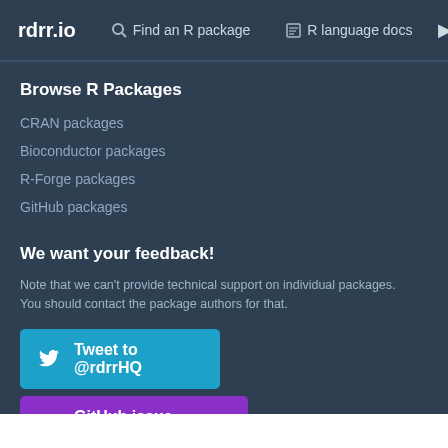rdrr.io | Find an R package | R language docs
Browse R Packages
CRAN packages
Bioconductor packages
R-Forge packages
GitHub packages
We want your feedback!
Note that we can't provide technical support on individual packages. You should contact the package authors for that.
Tweet to @rdrrHQ
GitHub issue tracker
ian@mutexlabs.com